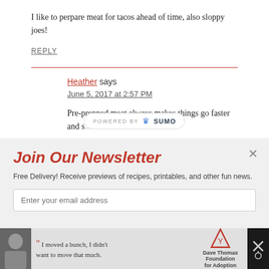I like to perpare meat for tacos ahead of time, also sloppy joes!
REPLY
Heather says
June 5, 2017 at 2:57 PM
Pre-prepped meat always makes things go faster and s... meals taste
[Figure (other): Powered by Sumo badge/bar overlay]
Join Our Newsletter
Free Delivery! Receive previews of recipes, printables, and other fun news.
Enter your email address
[Figure (other): Advertisement banner at bottom with Dave Thomas Foundation for Adoption ad]